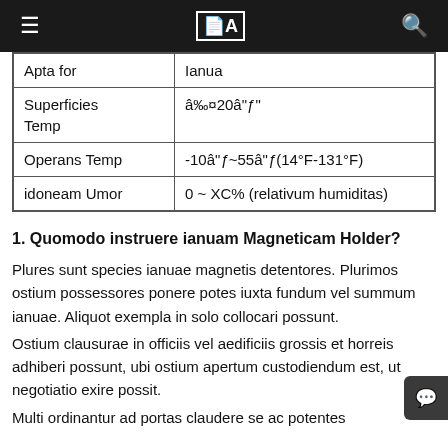≡  [A]  🔍
| Apta for | Ianua |
| Superficies Temp | â‰¤20â"ƒ" |
| Operans Temp | -10â"ƒ~55â"ƒ(14°F-131°F) |
| idoneam Umor | 0 ~ XC% (relativum humiditas) |
1. Quomodo instruere ianuam Magneticam Holder?
Plures sunt species ianuae magnetis detentores. Plurimos ostium possessores ponere potes iuxta fundum vel summum ianuae. Aliquot exempla in solo collocari possunt.
Ostium clausurae in officiis vel aedificiis grossis et horreis adhiberi possunt, ubi ostium apertum custodiendum est, ut negotiatio exire possit.
Multi ordinantur ad portas claudere se ac potentes